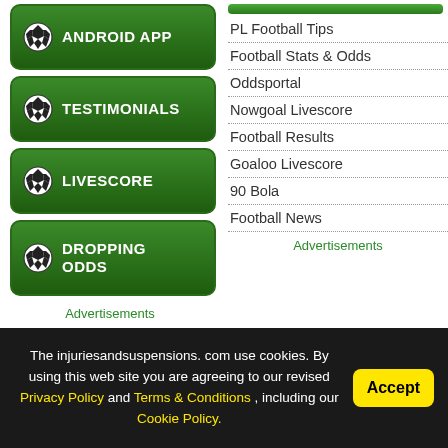[Figure (screenshot): Green button: Android App with soccer ball icon]
[Figure (screenshot): Green button: Testimonials with soccer ball icon]
[Figure (screenshot): Green button: Livescore with soccer ball icon]
[Figure (screenshot): Green button: Dropping Odds with soccer ball icon]
Advertisements
PL Football Tips
Football Stats & Odds
Oddsportal
Nowgoal Livescore
Football Results
Goaloo Livescore
90 Bola
Football News
Advertisements
The injuriesandsuspensions. com use cookies. By using this web site you are agreeing to our revised Privacy Policy and Terms & Conditions , including our Cookie Policy.